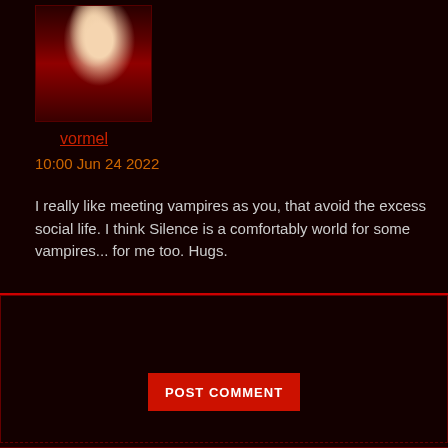[Figure (photo): Avatar/profile picture of a vampire character in dark red and gold tones, wearing formal attire]
vormel
10:00 Jun 24 2022
I really like meeting vampires as you, that avoid the excess social life. I think Silence is a comfortably world for some vampires... for me too. Hugs.
POST COMMENT